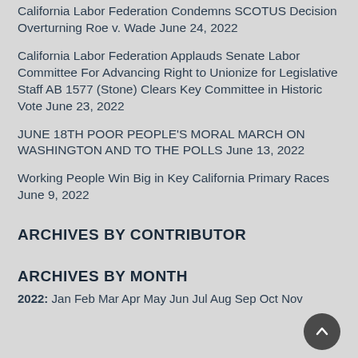California Labor Federation Condemns SCOTUS Decision Overturning Roe v. Wade June 24, 2022
California Labor Federation Applauds Senate Labor Committee For Advancing Right to Unionize for Legislative Staff AB 1577 (Stone) Clears Key Committee in Historic Vote June 23, 2022
JUNE 18TH POOR PEOPLE'S MORAL MARCH ON WASHINGTON AND TO THE POLLS June 13, 2022
Working People Win Big in Key California Primary Races June 9, 2022
ARCHIVES BY CONTRIBUTOR
ARCHIVES BY MONTH
2022: Jan Feb Mar Apr May Jun Jul Aug Sep Oct Nov